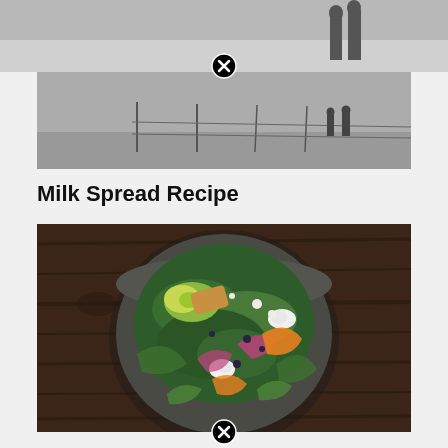[Figure (photo): Top partial photo of outdoor scene with people silhouetted in background, cropped at top of page]
[Figure (photo): Landscape photo of a misty field with fence posts and two people standing in the far background]
Milk Spread Recipe
[Figure (photo): Overhead photo of a dark bowl filled with a green salad including avocado, radishes, mixed greens, and other vegetables on a dark wooden table]